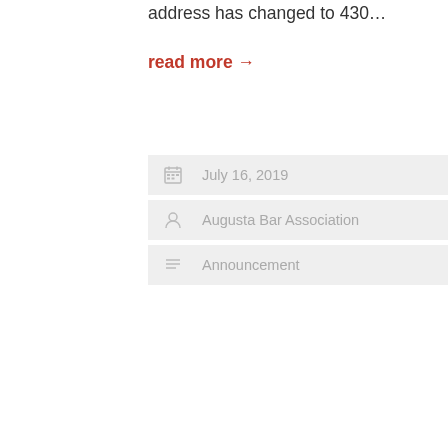address has changed to 430…
read more →
July 16, 2019
Augusta Bar Association
Announcement
[Figure (photo): Interior of a dining room with round tables covered in white tablecloths, chairs, wood-paneled walls, windows with views of trees, and a portrait on the wall.]